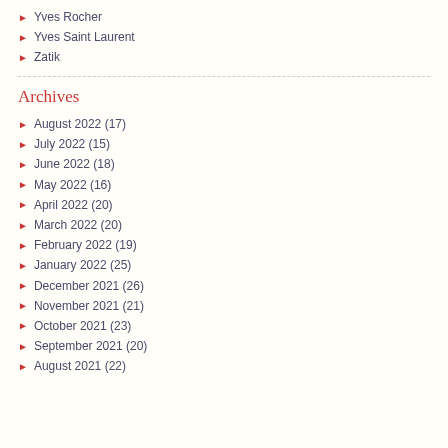Yves Rocher
Yves Saint Laurent
Zatik
Archives
August 2022 (17)
July 2022 (15)
June 2022 (18)
May 2022 (16)
April 2022 (20)
March 2022 (20)
February 2022 (19)
January 2022 (25)
December 2021 (26)
November 2021 (21)
October 2021 (23)
September 2021 (20)
August 2021 (22)